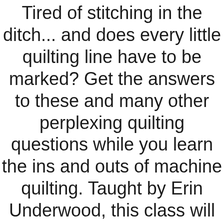Tired of stitching in the ditch... and does every little quilting line have to be marked? Get the answers to these and many other perplexing quilting questions while you learn the ins and outs of machine quilting. Taught by Erin Underwood, this class will teach you the basics of machine quilting on your own machine. One day class, handout